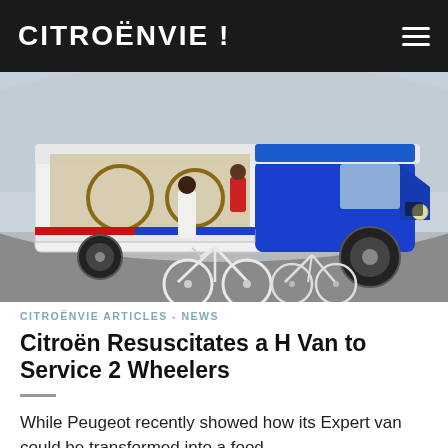CITROËNVIE !
[Figure (photo): A blue and white vintage Citroën H Van converted into a mobile bicycle service shop, with two bicycles parked in front and two people standing at the open side counter, set in an outdoor urban/architectural setting.]
CITROËNVIE ARTICLES - NEWS
Citroën Resuscitates a H Van to Service 2 Wheelers
While Peugeot recently showed how its Expert van could be transformed into a food